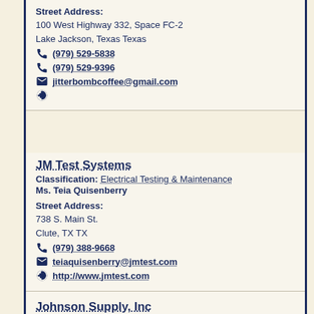Street Address: 100 West Highway 332, Space FC-2
Lake Jackson, Texas Texas
(979) 529-5838
(979) 529-9396
jitterbombcoffee@gmail.com
JM Test Systems
Classification: Electrical Testing & Maintenance
Ms. Teia Quisenberry
Street Address:
738 S. Main St.
Clute, TX TX
(979) 388-9668
teiaquisenberry@jmtest.com
http://www.jmtest.com
Johnson Supply, Inc